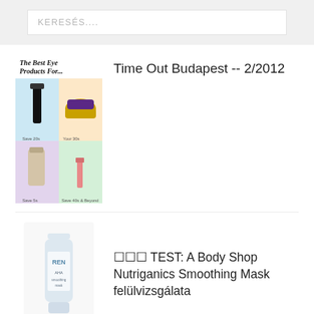KERESÉS....
[Figure (photo): Magazine collage showing best eye products with four quadrant images of cosmetics]
Time Out Budapest -- 2/2012
[Figure (photo): White bottle of REN skincare product]
☐☐☐ TEST: A Body Shop Nutriganics Smoothing Mask felülvizsgálata
[Figure (photo): Partially visible pink banner/image at bottom of page]